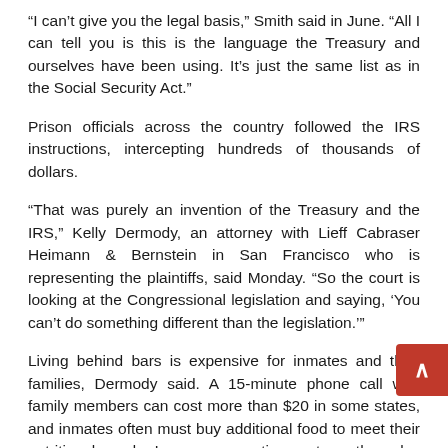“I can’t give you the legal basis,” Smith said in June. “All I can tell you is this is the language the Treasury and ourselves have been using. It’s just the same list as in the Social Security Act.”
Prison officials across the country followed the IRS instructions, intercepting hundreds of thousands of dollars.
“That was purely an invention of the Treasury and the IRS,” Kelly Dermody, an attorney with Lieff Cabraser Heimann & Bernstein in San Francisco who is representing the plaintiffs, said Monday. “So the court is looking at the Congressional legislation and saying, ‘You can’t do something different than the legislation.’”
Living behind bars is expensive for inmates and their families, Dermody said. A 15-minute phone call with family members can cost more than $20 in some states, and inmates often must buy additional food to meet their nutritional needs. In many correction systems they also must purchase their own personal hygiene items such as